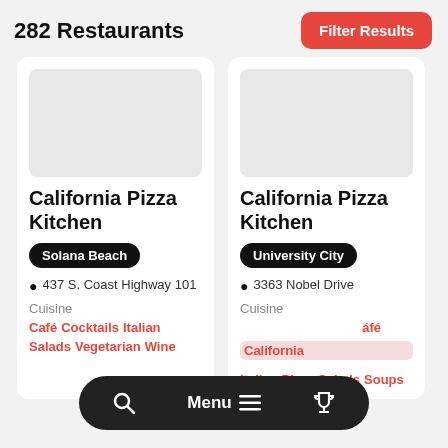282 Restaurants
Filter Results
California Pizza Kitchen
Solana Beach
437 S. Coast Highway 101
Cuisine
Café  Cocktails  Italian  Salads  Vegetarian  Wine
California Pizza Kitchen
University City
3363 Nobel Drive
Cuisine
Get Involved
Café  California  Italian  Pizza  Salads  Soups